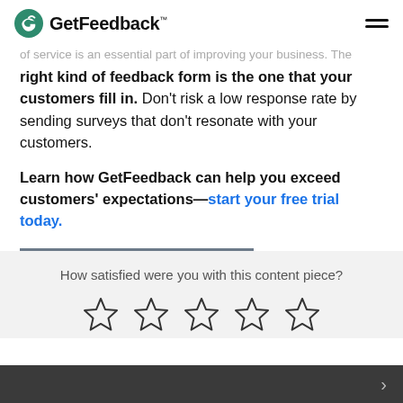GetFeedback
of service is an essential part of improving your business. The right kind of feedback form is the one that your customers fill in. Don't risk a low response rate by sending surveys that don't resonate with your customers.
Learn how GetFeedback can help you exceed customers' expectations—start your free trial today.
How satisfied were you with this content piece?
[Figure (other): Five empty star rating icons for user feedback]
>